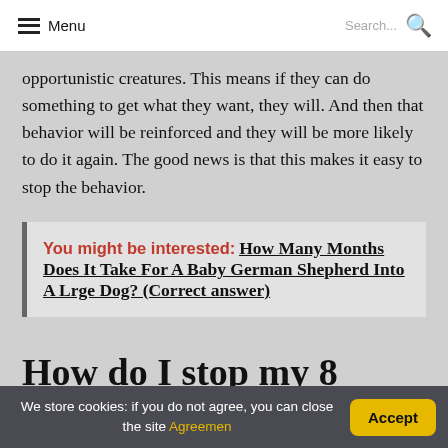Menu  Search...
opportunistic creatures. This means if they can do something to get what they want, they will. And then that behavior will be reinforced and they will be more likely to do it again. The good news is that this makes it easy to stop the behavior.
You might be interested:  How Many Months Does It Take For A Baby German Shepherd Into A Lrge Dog? (Correct answer)
How do I stop my 8
We store cookies: if you do not agree, you can close the site Agreemen  Accept